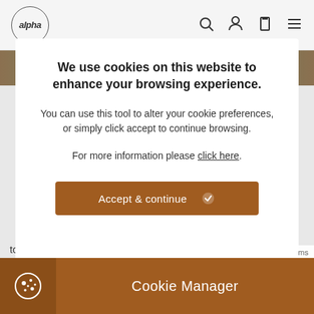alpha [navigation bar with search, account, cart, menu icons]
We use cookies on this website to enhance your browsing experience.
You can use this tool to alter your cookie preferences, or simply click accept to continue browsing.
For more information please click here.
Accept & continue
Cookie Manager
to begin preparations for a busy season in the field.
Privacy · Terms